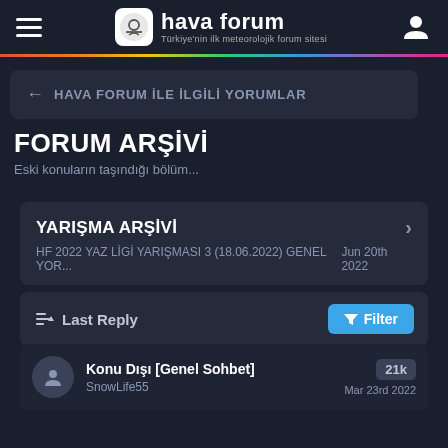hava forum — Türkiye'nin ilk meteorolojik forum sitesi
← HAVA FORUM İLE İLGİLİ YORUMLAR
FORUM ARŞİVİ
Eski konuların taşındığı bölüm...
YARIŞMA ARŞİVİ
HF 2022 YAZ LİGİ YARIŞMASI 3 (18.06.2022) GENEL YOR...    Jun 20th 2022
Last Reply    Filter
Konu Dışı [Genel Sohbet]
SnowLife55
21k
Mar 23rd 2022